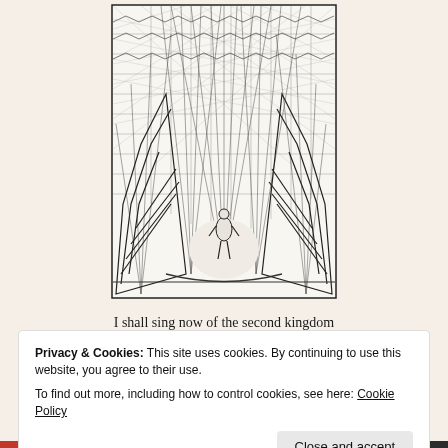[Figure (illustration): Black and white pen-and-ink illustration showing a figure standing beneath a large radiating structure with crosshatched pattern resembling a fan or wing, viewed from below. The figure appears small against the sweeping geometric lines.]
I shall sing now of the second kingdom where the soul goes to purify itself
Privacy & Cookies: This site uses cookies. By continuing to use this website, you agree to their use.
To find out more, including how to control cookies, see here: Cookie Policy